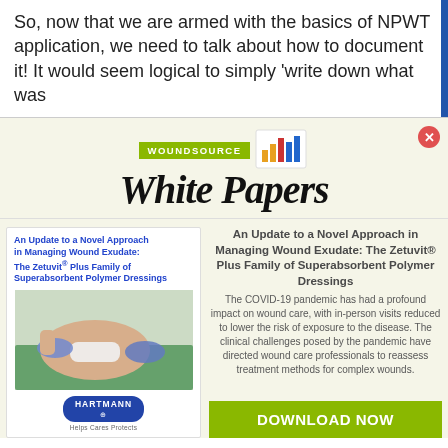So, now that we are armed with the basics of NPWT application, we need to talk about how to document it! It would seem logical to simply 'write down what was
[Figure (logo): WoundSource White Papers banner with bar chart icon, olive/green label badge, and stylized italic serif 'White Papers' title]
[Figure (illustration): Advertisement card for 'An Update to a Novel Approach in Managing Wound Exudate: The Zetuvit Plus Family of Superabsorbent Polymer Dressings' by Hartmann, showing a clinical photo of wound care being performed]
An Update to a Novel Approach in Managing Wound Exudate: The Zetuvit® Plus Family of Superabsorbent Polymer Dressings
The COVID-19 pandemic has had a profound impact on wound care, with in-person visits reduced to lower the risk of exposure to the disease. The clinical challenges posed by the pandemic have directed wound care professionals to reassess treatment methods for complex wounds.
DOWNLOAD NOW